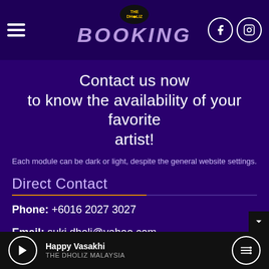BOOKING
Contact us now to know the availability of your favorite artist!
Each module can be dark or light, despite the general website settings.
Direct Contact
Phone: +6016 2027 3027
Email: suki.dholi@yahoo.com
Facebook: https://www.facebook.com/The_Dholi...
Happy Vasakhi — THE DHOLIZ MALAYSIA